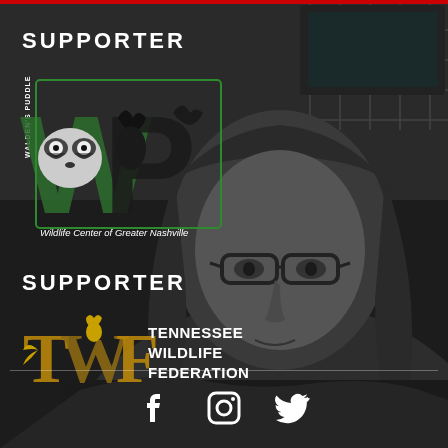[Figure (photo): Black and white photo of a person with long hair and glasses, looking at the camera, with shelving/caging visible in the background]
SUPPORTER
[Figure (logo): WP Walden's Puddle Wildlife Center of Greater Nashville logo with raccoon and other wildlife animals]
SUPPORTER
[Figure (logo): Tennessee Wildlife Federation (TWF) logo with deer emblem in gold]
[Figure (other): Social media icons: Facebook, Instagram, Twitter in white]